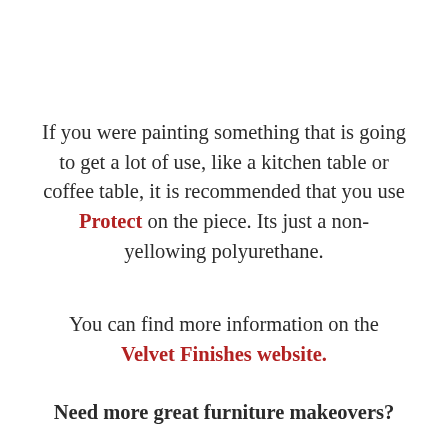If you were painting something that is going to get a lot of use, like a kitchen table or coffee table, it is recommended that you use Protect on the piece. Its just a non-yellowing polyurethane.
You can find more information on the Velvet Finishes website.
Need more great furniture makeovers?